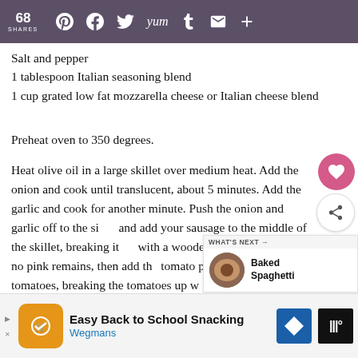68 SHARES [social share bar with Pinterest, Facebook, Twitter, Yummly, Tumblr, Email, More icons]
Salt and pepper
1 tablespoon Italian seasoning blend
1 cup grated low fat mozzarella cheese or Italian cheese blend
Preheat oven to 350 degrees.
Heat olive oil in a large skillet over medium heat. Add the onion and cook until translucent, about 5 minutes. Add the garlic and cook for another minute. Push the onion and garlic off to the sides and add your sausage to the middle of the skillet, breaking it up with a wooden spoon.Cook until no pink remains, then add the tomato pasta and diced tomatoes, breaking the tomatoes up with the wooden spoon. Salt and pepper to taste. Allow the meat sauce to simmer.
Cook egg noodles according to package instructions. Drain and set aside